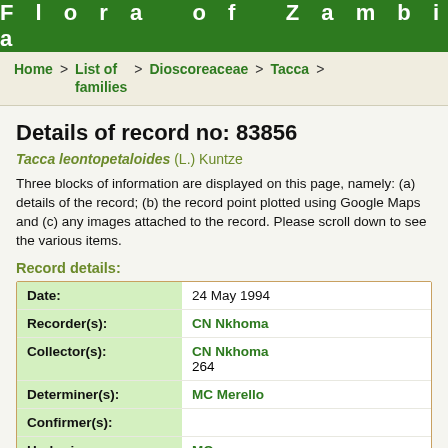Flora of Zambia
Home > List of families > Dioscoreaceae > Tacca >
Details of record no: 83856
Tacca leontopetaloides (L.) Kuntze
Three blocks of information are displayed on this page, namely: (a) details of the record; (b) the record point plotted using Google Maps and (c) any images attached to the record. Please scroll down to see the various items.
Record details:
| Field | Value |
| --- | --- |
| Date: | 24 May 1994 |
| Recorder(s): | CN Nkhoma |
| Collector(s): | CN Nkhoma
264 |
| Determiner(s): | MC Merello |
| Confirmer(s): |  |
| Herbarium: | MO |